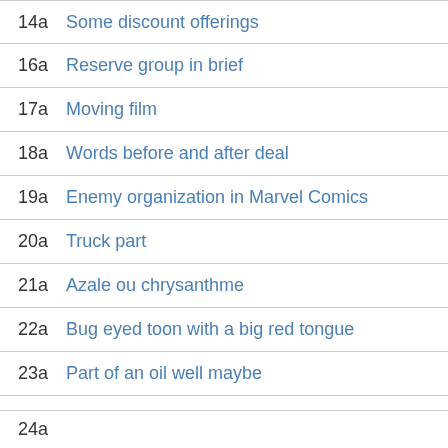14a Some discount offerings
16a Reserve group in brief
17a Moving film
18a Words before and after deal
19a Enemy organization in Marvel Comics
20a Truck part
21a Azale ou chrysanthme
22a Bug eyed toon with a big red tongue
23a Part of an oil well maybe
24a ...